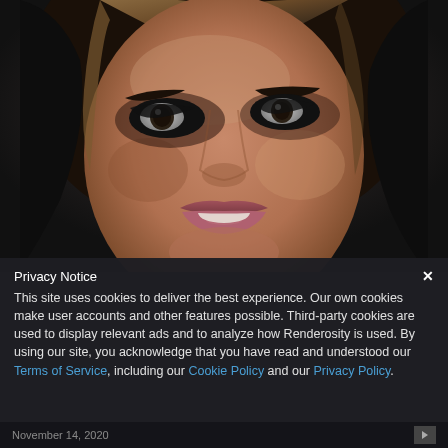[Figure (illustration): Close-up 3D rendered face of a woman with dark eyes, smoky eye makeup, medium skin tone, slightly parted lips showing teeth, and dark hair. The image has a dark background with a subtle framed border effect.]
Privacy Notice
This site uses cookies to deliver the best experience. Our own cookies make user accounts and other features possible. Third-party cookies are used to display relevant ads and to analyze how Renderosity is used. By using our site, you acknowledge that you have read and understood our Terms of Service, including our Cookie Policy and our Privacy Policy.
November 14, 2020